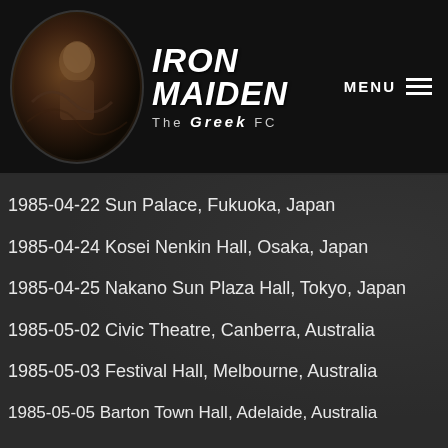IRON MAIDEN The Greek FC — MENU
1985-04-22 Sun Palace, Fukuoka, Japan
1985-04-24 Kosei Nenkin Hall, Osaka, Japan
1985-04-25 Nakano Sun Plaza Hall, Tokyo, Japan
1985-05-02 Civic Theatre, Canberra, Australia
1985-05-03 Festival Hall, Melbourne, Australia
1985-05-05 Barton Town Hall, Adelaide, Australia